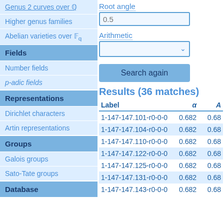Genus 2 curves over Q
Higher genus families
Abelian varieties over F_q
Fields
Number fields
p-adic fields
Representations
Dirichlet characters
Artin representations
Groups
Galois groups
Sato-Tate groups
Database
Root angle [form field, placeholder: 0.5]
Primitive [form field, partially cut off]
Arithmetic [dropdown]
Search again [button]
Results (36 matches)
| Label | α | A |
| --- | --- | --- |
| 1-147-147.101-r0-0-0 | 0.682 | 0.68 |
| 1-147-147.104-r0-0-0 | 0.682 | 0.68 |
| 1-147-147.110-r0-0-0 | 0.682 | 0.68 |
| 1-147-147.122-r0-0-0 | 0.682 | 0.68 |
| 1-147-147.125-r0-0-0 | 0.682 | 0.68 |
| 1-147-147.131-r0-0-0 | 0.682 | 0.68 |
| 1-147-147.143-r0-0-0 | 0.682 | 0.68 |